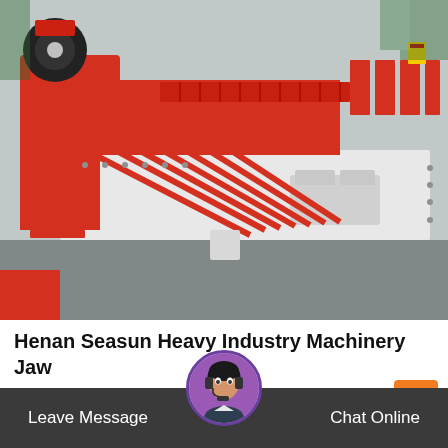[Figure (photo): Industrial red and white heavy machinery (jaw crusher / vibrating feeder) photographed outdoors on a concrete surface, showing red metal frame with roller components and white side panels]
Henan Seasun Heavy Industry Machinery Jaw
Henan seasun heavy industry machinery is a large group enterprise mainly manufacturing heavy mining machinery, and integrate scientific researc...
Leave Message   Chat Online